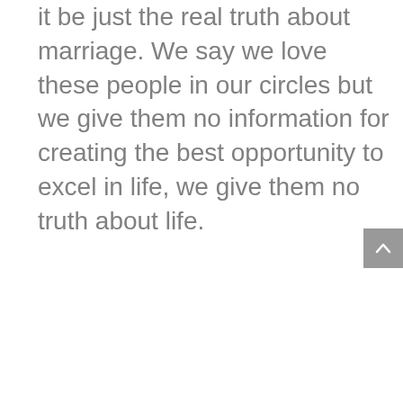it be just the real truth about marriage. We say we love these people in our circles but we give them no information for creating the best opportunity to excel in life, we give them no truth about life.